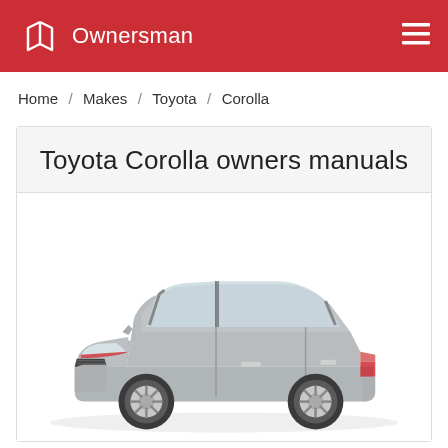Ownersman
Home / Makes / Toyota / Corolla
Toyota Corolla owners manuals
[Figure (photo): Silver Toyota Corolla sedan shown from the side profile on a white background]